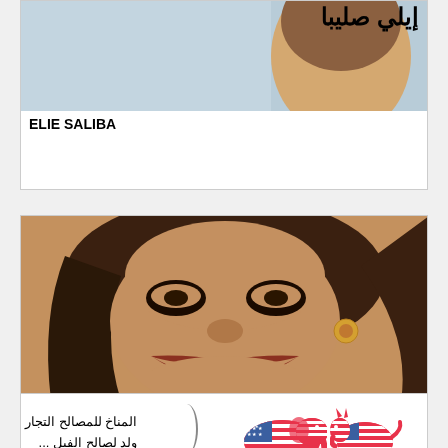[Figure (illustration): Partial caricature card showing Arabic text 'إيلي صليبا' and Latin text 'ELIE SALIBA' with a caricature illustration above]
إيلي صليبا
ELIE SALIBA
[Figure (illustration): Caricature portrait of a woman with large teeth, big hair, heavy eye makeup, and a wide smile, labeled Hassan Edalbi]
حسن أدلبي
HASSAN EDALBI
[Figure (illustration): Partial card showing Arabic text and US political party animal symbols (Republican elephant and Democratic donkey with American flag pattern)]